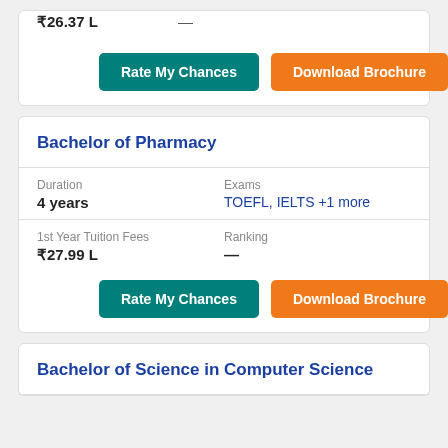₹26.37 L
—
Rate My Chances
Download Brochure
Bachelor of Pharmacy
Duration
4 years
Exams
TOEFL, IELTS +1 more
1st Year Tuition Fees
₹27.99 L
Ranking
—
Rate My Chances
Download Brochure
Bachelor of Science in Computer Science